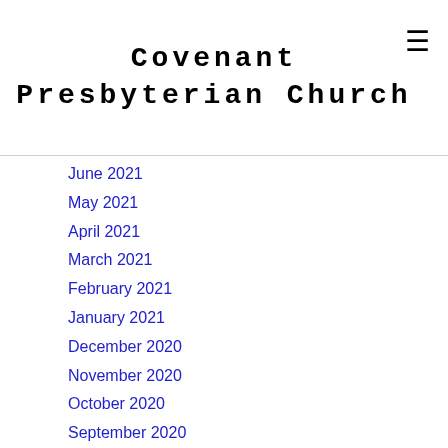Covenant Presbyterian Church
June 2021
May 2021
April 2021
March 2021
February 2021
January 2021
December 2020
November 2020
October 2020
September 2020
August 2020
July 2020
June 2020
May 2020
April 2020
March 2020